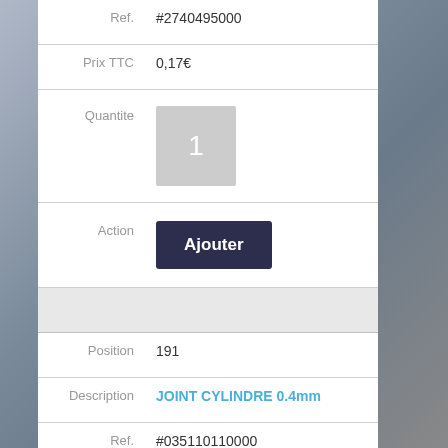| Ref. | #2740495000 |
| Prix TTC | 0,17€ |
| Quantite | 1 |
| Action | Ajouter |
| Position | 191 |
| Description | JOINT CYLINDRE 0.4mm |
| Ref. | #035110110000 |
| Prix TTC | 7,68€ |
| Quantite | 1 |